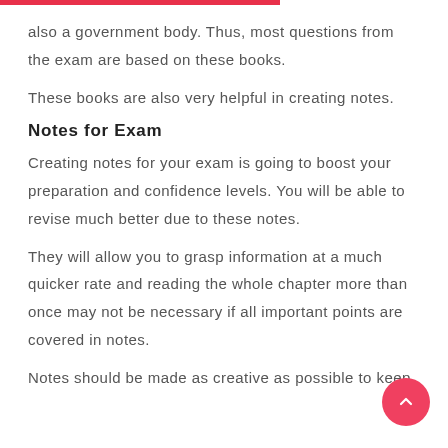also a government body. Thus, most questions from the exam are based on these books.
These books are also very helpful in creating notes.
Notes for Exam
Creating notes for your exam is going to boost your preparation and confidence levels. You will be able to revise much better due to these notes.
They will allow you to grasp information at a much quicker rate and reading the whole chapter more than once may not be necessary if all important points are covered in notes.
Notes should be made as creative as possible to keep